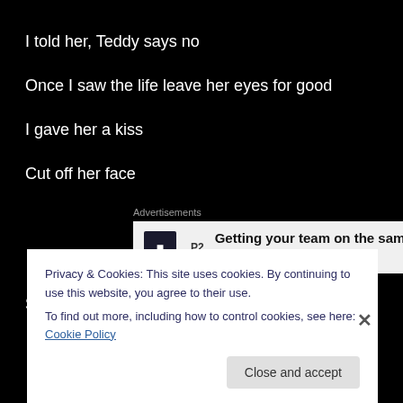I told her, Teddy says no
Once I saw the life leave her eyes for good
I gave her a kiss
Cut off her face
[Figure (screenshot): Advertisement banner: P2 logo with text 'Getting your team on the same page is easy. And free.']
Stashed it away
Privacy & Cookies: This site uses cookies. By continuing to use this website, you agree to their use.
To find out more, including how to control cookies, see here: Cookie Policy